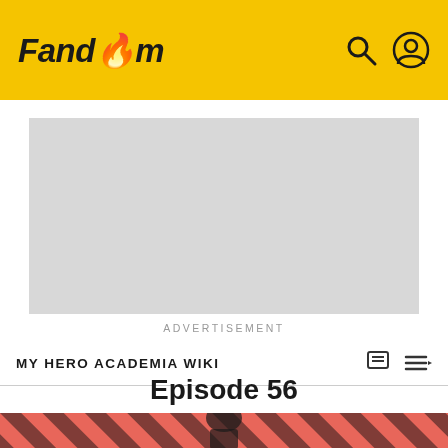Fandom
[Figure (screenshot): Advertisement placeholder (grey rectangle)]
ADVERTISEMENT
MY HERO ACADEMIA WIKI
Episode 56
[Figure (photo): Anime/show character photo with diagonal coral and dark striped background]